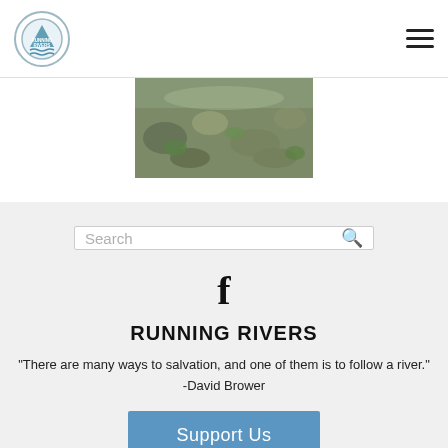Running Rivers - logo and navigation
[Figure (photo): Close-up photograph of a rocky river bed with water flowing over colorful stones and moss]
[Figure (logo): Facebook 'f' logo icon]
RUNNING RIVERS
"There are many ways to salvation, and one of them is to follow a river." -David Brower
Support Us